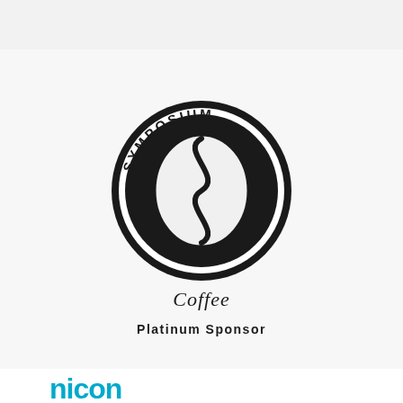[Figure (logo): Symposium Coffee logo: circular black emblem with coffee bean design and 'SYMPOSIUM' text arched around the top, 'Coffee' in italic script below the circle, 'Platinum Sponsor' text beneath]
[Figure (logo): Partial view of another sponsor logo showing 'nicon' text in teal/cyan color at the bottom of the page]